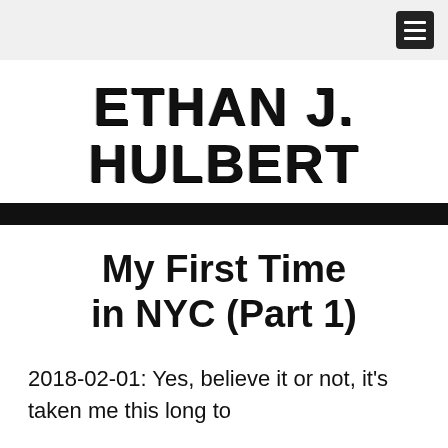[hamburger menu icon]
ETHAN J. HULBERT
My First Time in NYC (Part 1)
2018-02-01: Yes, believe it or not, it's taken me this long to